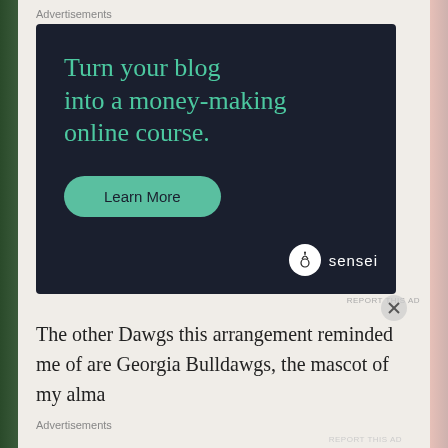Advertisements
[Figure (illustration): Dark navy advertisement banner for Sensei with teal headline text 'Turn your blog into a money-making online course.' and a teal 'Learn More' rounded button, with sensei logo at bottom right.]
REPORT THIS AD
The other Dawgs this arrangement reminded me of are Georgia Bulldawgs, the mascot of my alma
Advertisements
REPORT THIS AD